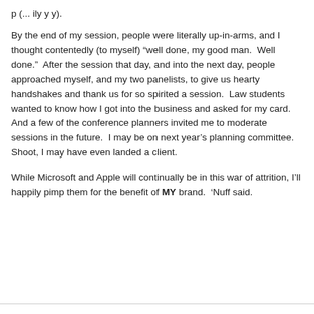p (... ily y y).
By the end of my session, people were literally up-in-arms, and I thought contentedly (to myself) “well done, my good man.  Well done.”  After the session that day, and into the next day, people approached myself, and my two panelists, to give us hearty handshakes and thank us for so spirited a session.  Law students wanted to know how I got into the business and asked for my card.  And a few of the conference planners invited me to moderate sessions in the future.  I may be on next year’s planning committee.  Shoot, I may have even landed a client.
While Microsoft and Apple will continually be in this war of attrition, I’ll happily pimp them for the benefit of MY brand.  ‘Nuff said.